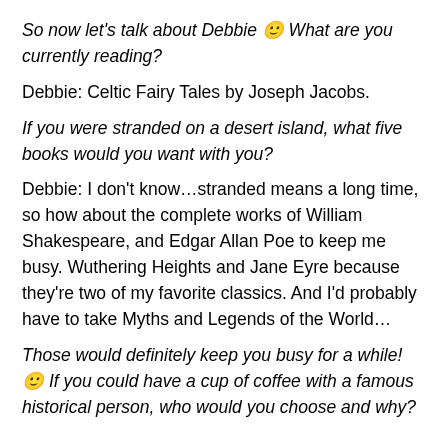So now let's talk about Debbie 🙂 What are you currently reading?
Debbie: Celtic Fairy Tales by Joseph Jacobs.
If you were stranded on a desert island, what five books would you want with you?
Debbie: I don't know…stranded means a long time, so how about the complete works of William Shakespeare, and Edgar Allan Poe to keep me busy. Wuthering Heights and Jane Eyre because they're two of my favorite classics. And I'd probably have to take Myths and Legends of the World…
Those would definitely keep you busy for a while! 🙂 If you could have a cup of coffee with a famous historical person, who would you choose and why?